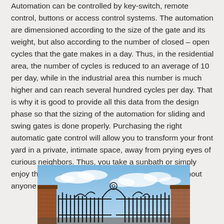Automation can be controlled by key-switch, remote control, buttons or access control systems. The automation are dimensioned according to the size of the gate and its weight, but also according to the number of closed – open cycles that the gate makes in a day. Thus, in the residential area, the number of cycles is reduced to an average of 10 per day, while in the industrial area this number is much higher and can reach several hundred cycles per day. That is why it is good to provide all this data from the design phase so that the sizing of the automation for sliding and swing gates is done properly. Purchasing the right automatic gate control will allow you to transform your front yard in a private, intimate space, away from prying eyes of curious neighbors. Thus, you take a sunbath or simply enjoy the company of your loved ones in peace, without anyone bothering you.
[Figure (photo): Photograph of an ornate black wrought-iron swing gate with decorative scrollwork, flanked by brick pillars, against a partly cloudy blue sky.]